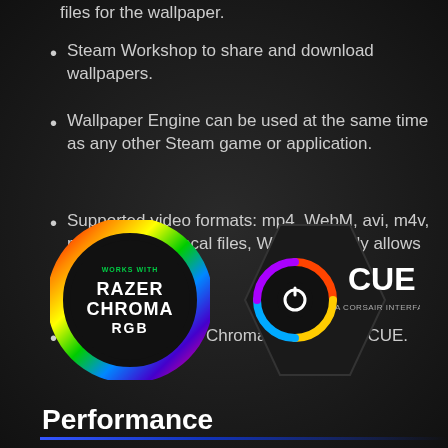files for the wallpaper.
Steam Workshop to share and download wallpapers.
Wallpaper Engine can be used at the same time as any other Steam game or application.
Supported video formats: mp4, WebM, avi, m4v, mov, wmv (for local files, Workshop only allows mp4).
Support for Razer Chroma and Corsair iCUE.
[Figure (logo): Razer Chroma RGB logo - circular rainbow ring with 'WORKS WITH RAZER CHROMA RGB' text on dark background]
[Figure (logo): iCUE A Corsair Interface logo - hexagonal shape with colorful power button icon and CUE text]
Performance